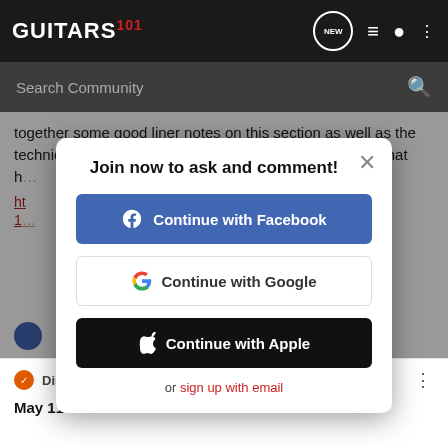GUITARS 101 — navigation header with logo, NEW bubble, list icon, person icon, dots icon
Search Community
together some good liner notes on this section as well as the technical efforts in remastering the tracks. I'm including that h...
Join now to ask and comment!
Continue with Facebook
Continue with Google
Continue with Apple
or sign up with email
Discussion Starter · #16 · May 11, 2022 (Edited)
May 11